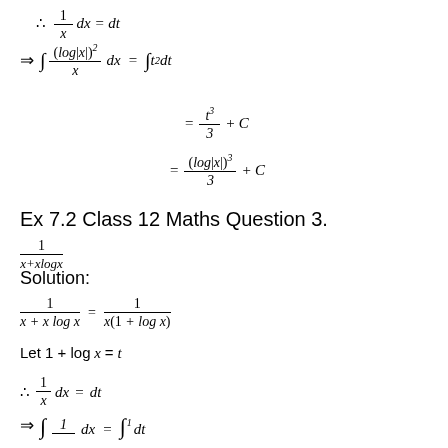Ex 7.2 Class 12 Maths Question 3.
Solution:
Let 1 + log x = t